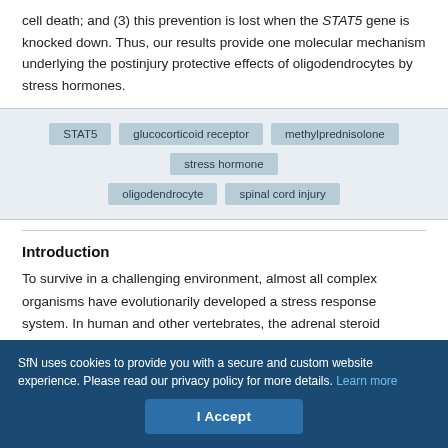cell death; and (3) this prevention is lost when the STAT5 gene is knocked down. Thus, our results provide one molecular mechanism underlying the postinjury protective effects of oligodendrocytes by stress hormones.
STAT5
glucocorticoid receptor
methylprednisolone
stress hormone
oligodendrocyte
spinal cord injury
Introduction
To survive in a challenging environment, almost all complex organisms have evolutionarily developed a stress response system. In human and other vertebrates, the adrenal steroid glucocorticoids
SfN uses cookies to provide you with a secure and custom website experience. Please read our privacy policy for more details. Learn more